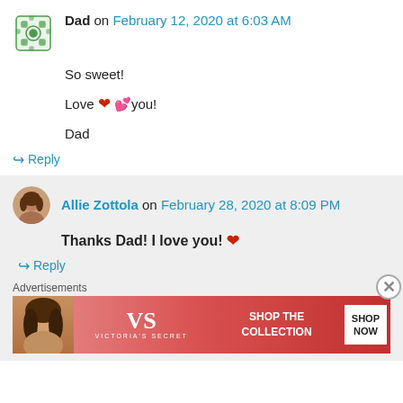Dad on February 12, 2020 at 6:03 AM
So sweet!

Love ❤ 💕 you!

Dad
↳ Reply
Allie Zottola on February 28, 2020 at 8:09 PM
Thanks Dad! I love you! ❤
↳ Reply
Advertisements
[Figure (other): Victoria's Secret advertisement banner with model, logo, 'SHOP THE COLLECTION' text, and 'SHOP NOW' button]